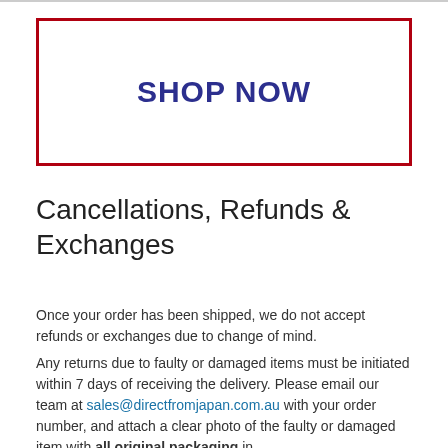[Figure (other): Red-bordered button/banner with dark blue bold text reading SHOP NOW]
Cancellations, Refunds & Exchanges
Once your order has been shipped, we do not accept refunds or exchanges due to change of mind.
Any returns due to faulty or damaged items must be initiated within 7 days of receiving the delivery. Please email our team at sales@directfromjapan.com.au with your order number, and attach a clear photo of the faulty or damaged item with all original packaging in